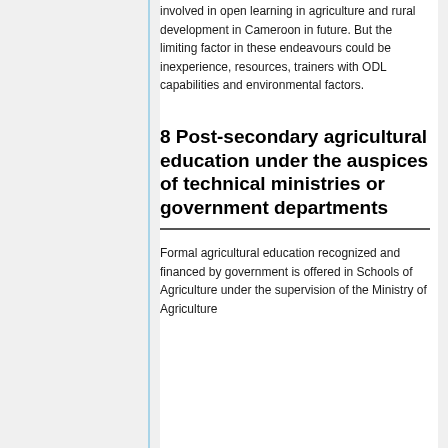involved in open learning in agriculture and rural development in Cameroon in future. But the limiting factor in these endeavours could be inexperience, resources, trainers with ODL capabilities and environmental factors.
8 Post-secondary agricultural education under the auspices of technical ministries or government departments
Formal agricultural education recognized and financed by government is offered in Schools of Agriculture under the supervision of the Ministry of Agriculture